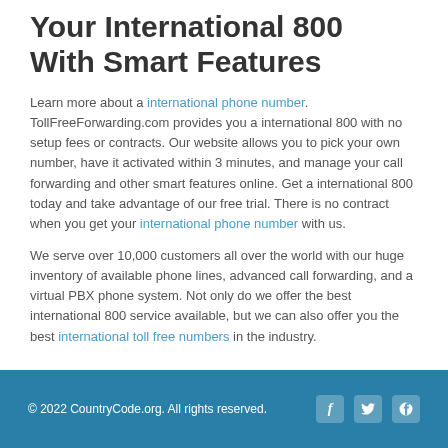Your International 800 With Smart Features
Learn more about a international phone number. TollFreeForwarding.com provides you a international 800 with no setup fees or contracts. Our website allows you to pick your own number, have it activated within 3 minutes, and manage your call forwarding and other smart features online. Get a international 800 today and take advantage of our free trial. There is no contract when you get your international phone number with us.
We serve over 10,000 customers all over the world with our huge inventory of available phone lines, advanced call forwarding, and a virtual PBX phone system. Not only do we offer the best international 800 service available, but we can also offer you the best international toll free numbers in the industry.
© 2022 CountryCode.org. All rights reserved.